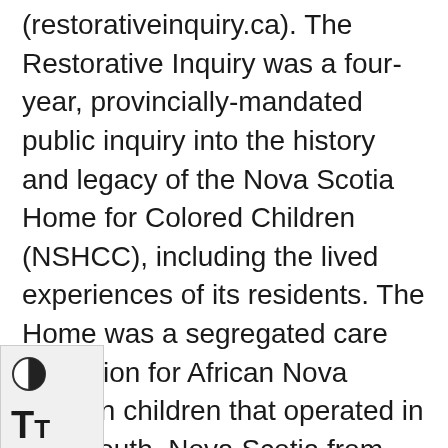(restorativeinquiry.ca). The Restorative Inquiry was a four-year, provincially-mandated public inquiry into the history and legacy of the Nova Scotia Home for Colored Children (NSHCC), including the lived experiences of its residents. The Home was a segregated care institution for African Nova Scotian children that operated in Dartmouth, Nova Scotia from 1921 until the early 2000s. Established to meet care needs of African Nova Scotian children, the home was a site of significant abuse and harm for many of its residents. Over the decades of its operations, former residents experienced neglect and abuse (Province of Nova Scotia 2019, 153–172). The Restorative Inquiry was established to examine the experience of the Nova Scotia Home for Colored Children in relation to systemic and institutionalized racism, both historic and current, in Nova Scotia. In